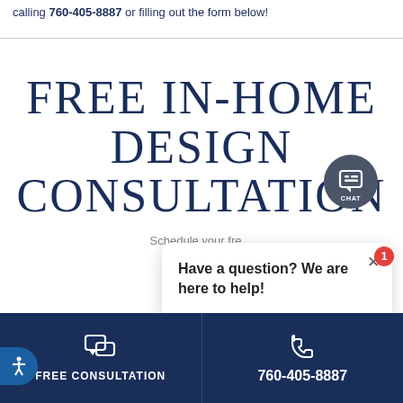calling 760-405-8887 or filling out the form below!
FREE IN-HOME DESIGN CONSULTATION
Schedule your free in-home design consultation...
[Figure (screenshot): Chat popup overlay with text 'Have a question? We are here to help!' and a close (×) button]
[Figure (infographic): Chat button (dark circle with CHAT label) and red notification badge showing '1']
FREE CONSULTATION | 760-405-8887